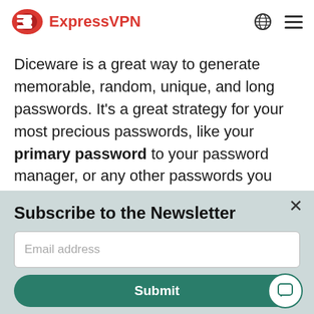ExpressVPN
Diceware is a great way to generate memorable, random, unique, and long passwords. It's a great strategy for your most precious passwords, like your primary password to your password manager, or any other passwords you might want to store entirely in your head (such as the password to your computer
Subscribe to the Newsletter
Email address
Submit